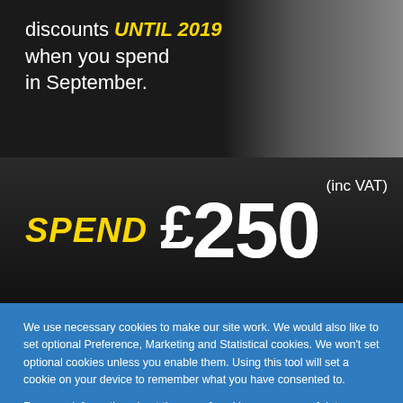[Figure (photo): Dark banner with text 'discounts UNTIL 2019 when you spend in September.' overlaid on a dark background with a blurred hand/tool image on the right.]
[Figure (infographic): Dark bar showing 'SPEND £250 (inc VAT)' in large bold yellow and white text on a dark gradient background.]
We use necessary cookies to make our site work. We would also like to set optional Preference, Marketing and Statistical cookies. We won't set optional cookies unless you enable them. Using this tool will set a cookie on your device to remember what you have consented to.
For more information about the use of cookies or our use of data, see our Cookie Notice or Privacy Notice.
To submit a Data Privacy Request, click here
Powered by CookieScan
Allow All Cookies and Reload
Or Select Your Own Preferences